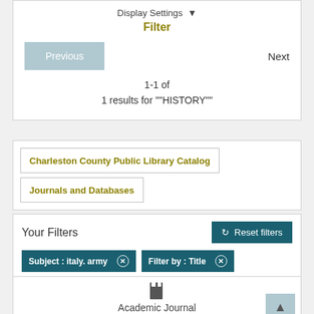Display Settings ▼
Filter
Previous
Next
1–1 of
1 results for ""HISTORY""
Charleston County Public Library Catalog
Journals and Databases
Your Filters
Reset filters
Subject : italy. army ✕
Filter by : Title ✕
[Figure (illustration): Book/journal icon]
Academic Journal